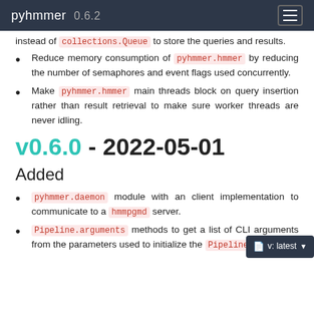pyhmmer 0.6.2
instead of collections.Queue to store the queries and results.
Reduce memory consumption of pyhmmer.hmmer by reducing the number of semaphores and event flags used concurrently.
Make pyhmmer.hmmer main threads block on query insertion rather than result retrieval to make sure worker threads are never idling.
v0.6.0 - 2022-05-01
Added
pyhmmer.daemon module with an client implementation to communicate to a hmmpgmd server.
Pipeline.arguments methods to get a list of CLI arguments from the parameters used to initialize the Pipeline.